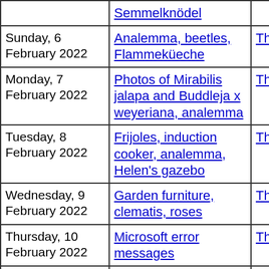| Date | Description | Thumbnails | Small photos | dia |
| --- | --- | --- | --- | --- |
|  | Semmelknödel | Thumbnails | Small photos | dia |
| Sunday, 6 February 2022 | Analemma, beetles, Flammeküeche | Thumbnails | Small photos | dia |
| Monday, 7 February 2022 | Photos of Mirabilis jalapa and Buddleja x weyeriana, analemma | Thumbnails | Small photos | dia |
| Tuesday, 8 February 2022 | Frijoles, induction cooker, analemma, Helen's gazebo | Thumbnails | Small photos | dia |
| Wednesday, 9 February 2022 | Garden furniture, clematis, roses | Thumbnails | Small photos | dia |
| Thursday, 10 February 2022 | Microsoft error messages | Thumbnails | Small photos | dia |
| Friday, 11 February 2022 | Microsft backup, analemma, dog medicine | Thumbnails | Small photos | dia |
| Saturday, 12 February 2022 | Analemma, house photos, Corymbia ficifolia, cooking | Thumbnails | Small photos | dia |
| Sunday, 13 | Analemma, dogs and | Thumbnails | Small photos | dia |